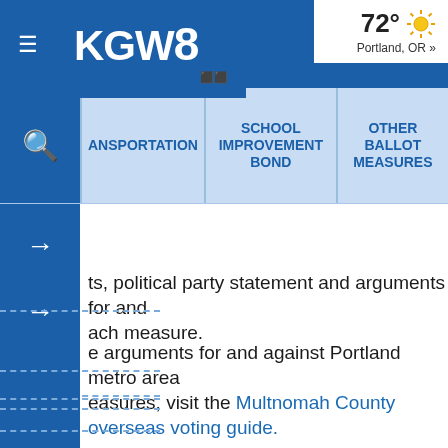KGW8 — 72° Portland, OR »
TRANSPORTATION | SCHOOL IMPROVEMENT BOND | OTHER BALLOT MEASURES
ts, political party statement and arguments for and ach measure.
e arguments for and against Portland metro area easures, visit the Multnomah County overseas voting guide.
ve questions about ballot measures not listed isit this guide to contact elections officials in your